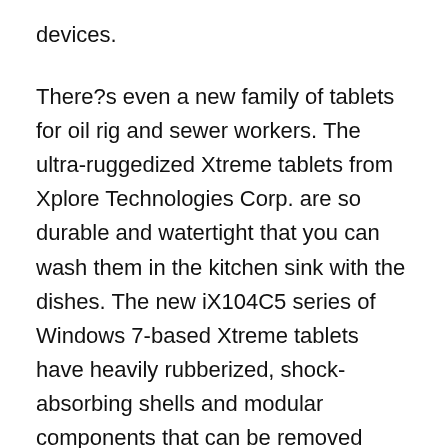devices.
There?s even a new family of tablets for oil rig and sewer workers. The ultra-ruggedized Xtreme tablets from Xplore Technologies Corp. are so durable and watertight that you can wash them in the kitchen sink with the dishes. The new iX104C5 series of Windows 7-based Xtreme tablets have heavily rubberized, shock-absorbing shells and modular components that can be removed without tools, a necessary feature in order to meet military specifications. There?s even a supersealed ?clean room? version.
The drive to get independent software writers to develop quality tablet apps has triggered a sudden